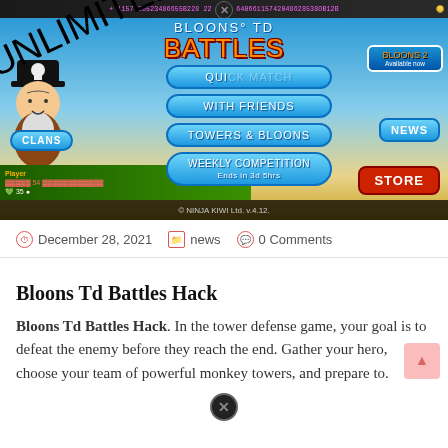[Figure (screenshot): Screenshot of Bloons TD Battles mobile game main menu with 'UNLIMITED MEDALLIONS' watermark overlaid diagonally. Shows game title, menu buttons (Quick Match, With Friends, Towers & Bloons, Weekly Competition, Clans, News, Store), player info bar, and copyright notice for Ninja Kiwi Ltd.]
December 28, 2021    news    0 Comments
Bloons Td Battles Hack
Bloons Td Battles Hack. In the tower defense game, your goal is to defeat the enemy before they reach the end. Gather your hero, choose your team of powerful monkey towers, and prepare to.